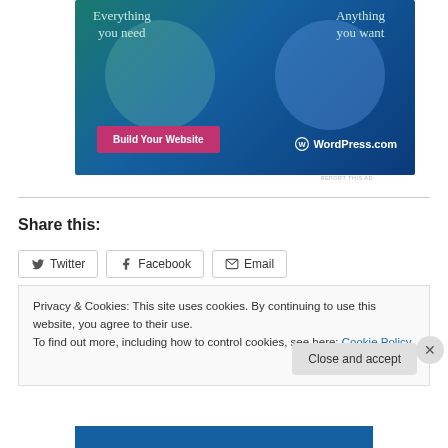[Figure (illustration): WordPress.com advertisement with teal/blue gradient background, two overlapping circles, text 'Everything you need' and 'Anything you want', pink 'Build Your Website' button, and WordPress.com logo]
REPORT THIS AD
Share this:
Twitter   Facebook   Email
Privacy & Cookies: This site uses cookies. By continuing to use this website, you agree to their use.
To find out more, including how to control cookies, see here: Cookie Policy
Close and accept